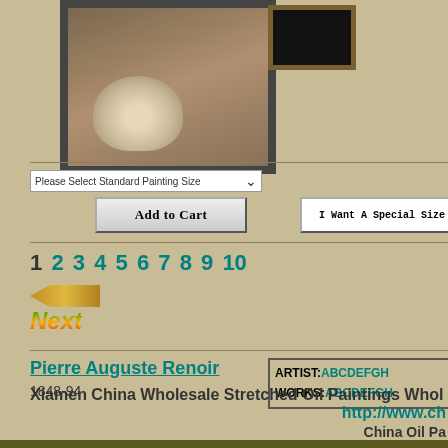[Figure (photo): Framed oil painting of a fluffy dog or animal on dark background, with decorative frame]
[Figure (photo): Small dark framed painting thumbnail in upper right area]
Please Select Standard Painting Size
Add to Cart
I Want A Special Size
1 2 3 4 5 6 7 8 9 10
[Figure (other): Previous arrow navigation button (golden arrow pointing left)]
Next
Pierre Auguste Renoir
1848-94
ARTIST: ABCDEFGH
WORKS: ABCDEFGH
Xiamen China Wholesale Stretched Oil Paintings Whol
http://www.ch
China Oil Pa